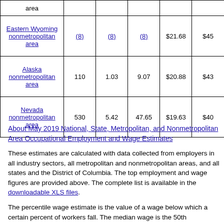| Area | Employment | Employment per thousand jobs | Location quotient | Hourly mean wage | Annual mean wage |
| --- | --- | --- | --- | --- | --- |
| area |  |  |  |  |  |
| Eastern Wyoming nonmetropolitan area | (8) | (8) | (8) | $21.68 | $45... |
| Alaska nonmetropolitan area | 110 | 1.03 | 9.07 | $20.88 | $43... |
| Nevada nonmetropolitan area | 530 | 5.42 | 47.65 | $19.63 | $40... |
About May 2019 National, State, Metropolitan, and Nonmetropolitan Area Occupational Employment and Wage Estimates
These estimates are calculated with data collected from employers in all industry sectors, all metropolitan and nonmetropolitan areas, and all states and the District of Columbia. The top employment and wage figures are provided above. The complete list is available in the downloadable XLS files.
The percentile wage estimate is the value of a wage below which a certain percent of workers fall. The median wage is the 50th percentile...